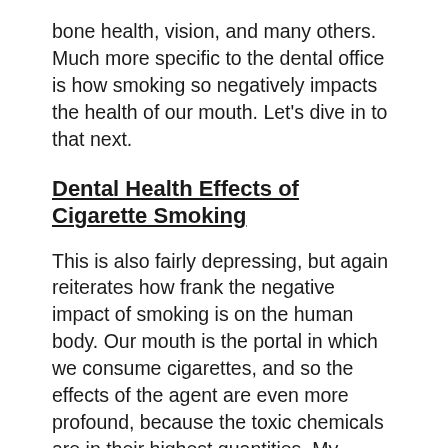bone health, vision, and many others. Much more specific to the dental office is how smoking so negatively impacts the health of our mouth. Let’s dive in to that next.
Dental Health Effects of Cigarette Smoking
This is also fairly depressing, but again reiterates how frank the negative impact of smoking is on the human body. Our mouth is the portal in which we consume cigarettes, and so the effects of the agent are even more profound, because the toxic chemicals are in their highest quantities. My undergraduate degree is in Molecular Biology, and so attracting the